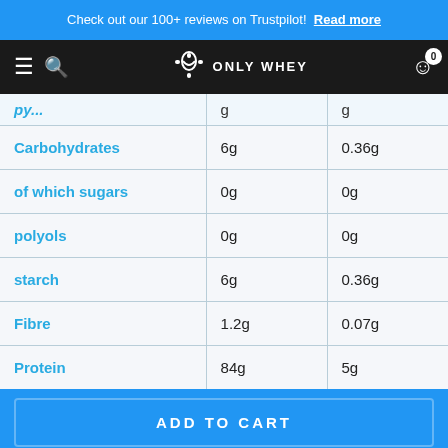Check out our 100+ reviews on Trustpilot! Read more
[Figure (logo): Only Whey logo with kettlebell icon on dark navigation bar]
|  |  |  |
| --- | --- | --- |
| Carbohydrates | 6g | 0.36g |
| of which sugars | 0g | 0g |
| polyols | 0g | 0g |
| starch | 6g | 0.36g |
| Fibre | 1.2g | 0.07g |
| Protein | 84g | 5g |
ADD TO CART